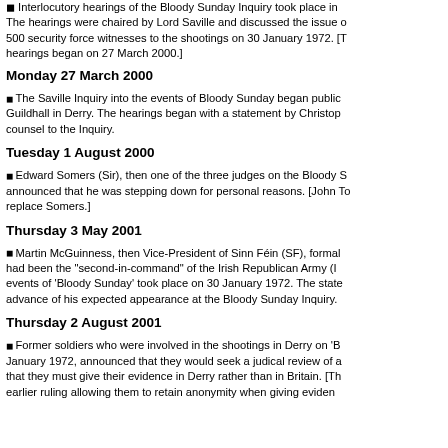Interlocutory hearings of the Bloody Sunday Inquiry took place in... The hearings were chaired by Lord Saville and discussed the issue of... 500 security force witnesses to the shootings on 30 January 1972. [T... hearings began on 27 March 2000.]
Monday 27 March 2000
The Saville Inquiry into the events of Bloody Sunday began public... Guildhall in Derry. The hearings began with a statement by Christop... counsel to the Inquiry.
Tuesday 1 August 2000
Edward Somers (Sir), then one of the three judges on the Bloody S... announced that he was stepping down for personal reasons. [John To... replace Somers.]
Thursday 3 May 2001
Martin McGuinness, then Vice-President of Sinn Féin (SF), formal... had been the "second-in-command" of the Irish Republican Army (I... events of 'Bloody Sunday' took place on 30 January 1972. The state... advance of his expected appearance at the Bloody Sunday Inquiry.
Thursday 2 August 2001
Former soldiers who were involved in the shootings in Derry on 'B... January 1972, announced that they would seek a judical review of a... that they must give their evidence in Derry rather than in Britain. [Th... earlier ruling allowing them to retain anonymity when giving eviden...